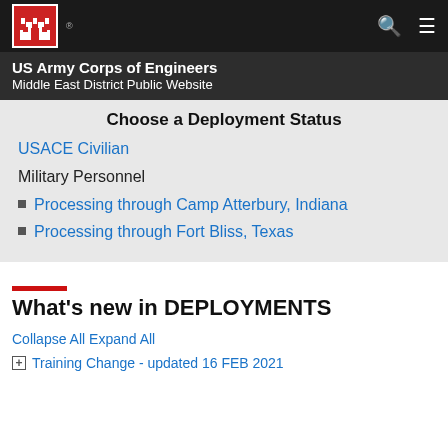US Army Corps of Engineers Middle East District Public Website
Choose a Deployment Status
USACE Civilian
Military Personnel
Processing through Camp Atterbury, Indiana
Processing through Fort Bliss, Texas
What's new in DEPLOYMENTS
Collapse All Expand All
Training Change - updated 16 FEB 2021